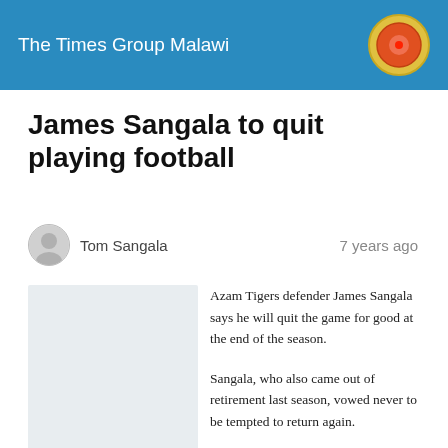The Times Group Malawi
James Sangala to quit playing football
Tom Sangala    7 years ago
[Figure (photo): Placeholder image for article photo]
Azam Tigers defender James Sangala says he will quit the game for good at the end of the season.
Sangala, who also came out of retirement last season, vowed never to be tempted to return again.
The former Be Forward Wanderers captain said he has been playing after